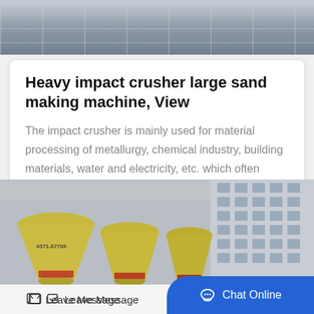[Figure (photo): Top portion of industrial crusher machine with metal frame and compartments, grey-blue tones]
Heavy impact crusher large sand making machine, View
The impact crusher is mainly used for material processing of metallurgy, chemical industry, building materials, water and electricity, etc. which often needs to be relocated, especiall…
Get Price
[Figure (photo): Yellow cone crusher machines with red bands in an industrial yard, with a multi-storey building in the background. Machine label reads 0371-67709]
Leave Message
Chat Online